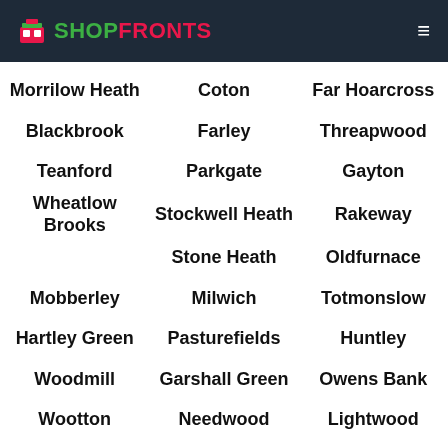SHOPFRONTS
Morrilow Heath
Coton
Far Hoarcross
Blackbrook
Farley
Threapwood
Teanford
Parkgate
Gayton
Wheatlow Brooks
Stockwell Heath
Rakeway
Stone Heath
Oldfurnace
Mobberley
Milwich
Totmonslow
Hartley Green
Pasturefields
Huntley
Woodmill
Garshall Green
Owens Bank
Wootton
Needwood
Lightwood